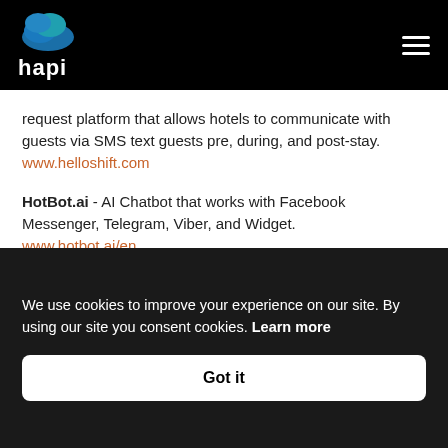hapi
request platform that allows hotels to communicate with guests via SMS text guests pre, during, and post-stay. www.helloshift.com
HotBot.ai - AI Chatbot that works with Facebook Messenger, Telegram, Viber, and Widget. www.hotbot.ai/en
Ivy by Go Moment - Combination of AI chatbot and Staff driven text messaging platform, that
We use cookies to improve your experience on our site. By using our site you consent cookies. Learn more
Got it